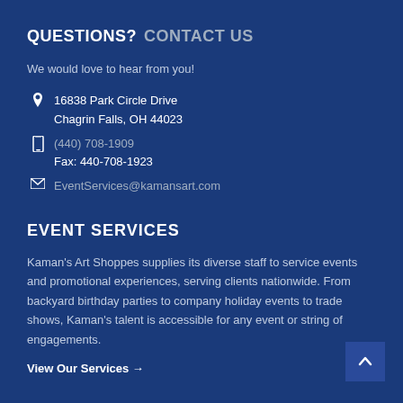QUESTIONS? CONTACT US
We would love to hear from you!
16838 Park Circle Drive
Chagrin Falls, OH 44023
(440) 708-1909
Fax: 440-708-1923
EventServices@kamansart.com
EVENT SERVICES
Kaman's Art Shoppes supplies its diverse staff to service events and promotional experiences, serving clients nationwide. From backyard birthday parties to company holiday events to trade shows, Kaman's talent is accessible for any event or string of engagements.
View Our Services →